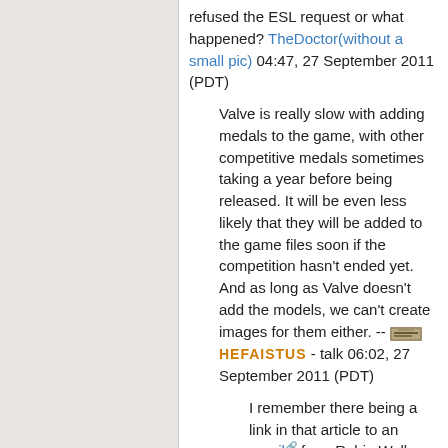refused the ESL request or what happened? TheDoctor(without a small pic) 04:47, 27 September 2011 (PDT)
Valve is really slow with adding medals to the game, with other competitive medals sometimes taking a year before being released. It will be even less likely that they will be added to the game files soon if the competition hasn't ended yet. And as long as Valve doesn't add the models, we can't create images for them either. -- HEFAISTUS - talk 06:02, 27 September 2011 (PDT)
I remember there being a link in that article to an email from Robin Walker referring to the medals. Check it out. Rolandius 06:08, 27 September 2011 (PDT)
I read more about it and found out that the ESL promised for